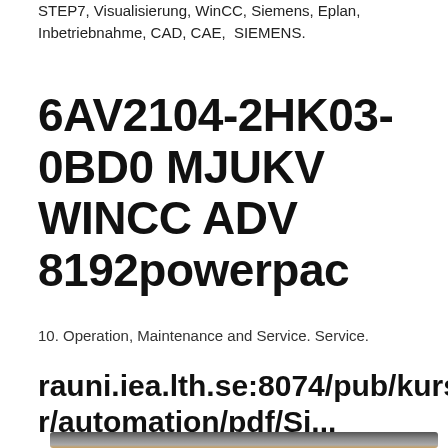STEP7, Visualisierung, WinCC, Siemens, Eplan, Inbetriebnahme, CAD, CAE, SIEMENS.
6AV2104-2HK03-0BD0 MJUKV WINCC ADV 8192powerpac
10. Operation, Maintenance and Service. Service.
rauni.iea.lth.se:8074/pub/kurser/automation/pdf/Si...
[Figure (photo): Partial photo of a laptop/screen with a person visible in the background]